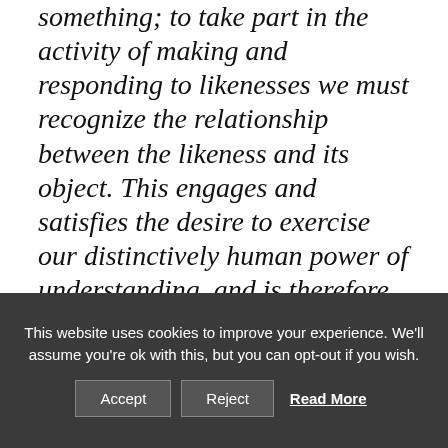something; to take part in the activity of making and responding to likenesses we must recognize the relationship between the likeness and its object. This engages and satisfies the desire to exercise our distinctively human power of understanding, and is therefore pleasurable. This exercise of our capacity for understanding is, to be sure, a rudimentary one. But Aristotle's purpose here is to explain how poetry and painting are rooted in basic instincts
This website uses cookies to improve your experience. We'll assume you're ok with this, but you can opt-out if you wish. Accept Reject Read More